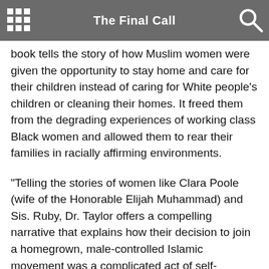The Final Call
book tells the story of how Muslim women were given the opportunity to stay home and care for their children instead of caring for White people's children or cleaning their homes. It freed them from the degrading experiences of working class Black women and allowed them to rear their families in racially affirming environments.
“Telling the stories of women like Clara Poole (wife of the Honorable Elijah Muhammad) and Sis. Ruby, Dr. Taylor offers a compelling narrative that explains how their decision to join a homegrown, male-controlled Islamic movement was a complicated act of self-preservation and self-love in Jim Crow America,” the book reads.
But these Muslim women were also educators, laying the groundwork for the Nation's heralded Muhammad University of Islam independent school system and staffing the schools. They were also administrators, clerks, cooks, seamstresses, writers, office workers, ministers, nurses, business owners and were able to play other